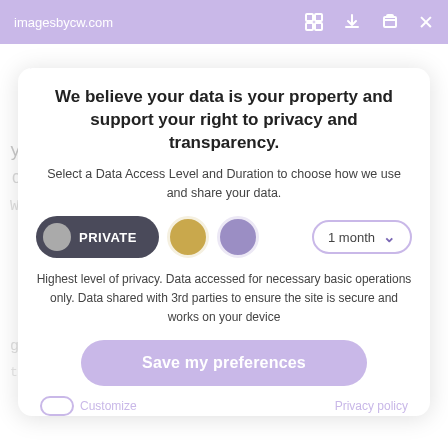imagesbycw.com
We believe your data is your property and support your right to privacy and transparency.
Select a Data Access Level and Duration to choose how we use and share your data.
[Figure (screenshot): Privacy control widget with PRIVATE button (dark rounded pill with grey circle), two color circles (gold and purple), and a '1 month' dropdown selector]
Highest level of privacy. Data accessed for necessary basic operations only. Data shared with 3rd parties to ensure the site is secure and works on your device
Save my preferences
Customize
Privacy policy